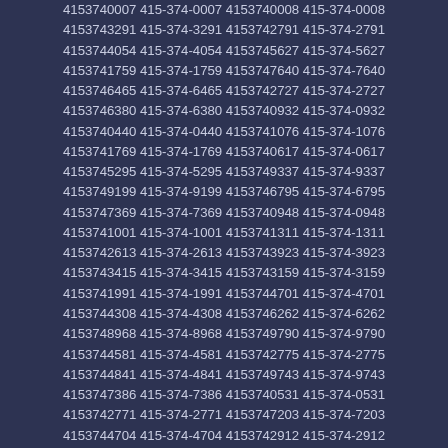4153740007 415-374-0007 4153740008 415-374-0008
4153743291 415-374-3291 4153742791 415-374-2791
4153744054 415-374-4054 4153745627 415-374-5627
4153741759 415-374-1759 4153747640 415-374-7640
4153746465 415-374-6465 4153742727 415-374-2727
4153746380 415-374-6380 4153740932 415-374-0932
4153740440 415-374-0440 4153741076 415-374-1076
4153741769 415-374-1769 4153740617 415-374-0617
4153745295 415-374-5295 4153749337 415-374-9337
4153749199 415-374-9199 4153746795 415-374-6795
4153747369 415-374-7369 4153740948 415-374-0948
4153741001 415-374-1001 4153741311 415-374-1311
4153742613 415-374-2613 4153743923 415-374-3923
4153743415 415-374-3415 4153743159 415-374-3159
4153741991 415-374-1991 4153744701 415-374-4701
4153744308 415-374-4308 4153746262 415-374-6262
4153748968 415-374-8968 4153749790 415-374-9790
4153744581 415-374-4581 4153742775 415-374-2775
4153744841 415-374-4841 4153749743 415-374-9743
4153747386 415-374-7386 4153740531 415-374-0531
4153742771 415-374-2771 4153747203 415-374-7203
4153744704 415-374-4704 4153742912 415-374-2912
4153744668 415-374-4668 4153740404 415-374-0404
4153748764 415-374-8764 4153740684 415-374-0684
4153741816 415-374-1816 4153749381 415-374-9381
4153742261 415-374-2261 4153746518 415-374-6518
4153744505 415-374-4505 4153747001 415-374-7001
4153741132 415-374-1132 4153749013 415-374-9013
4153742225 415-374-2225 4153743006 415-374-3006